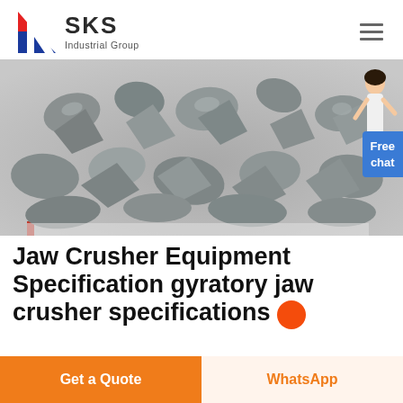SKS Industrial Group
[Figure (photo): Close-up photo of crushed gray stone/gravel aggregate material on a white background, with a woman figure and 'Free chat' button overlay in the top right corner]
Jaw Crusher Equipment Specification gyratory jaw crusher specifications
Get a Quote | WhatsApp